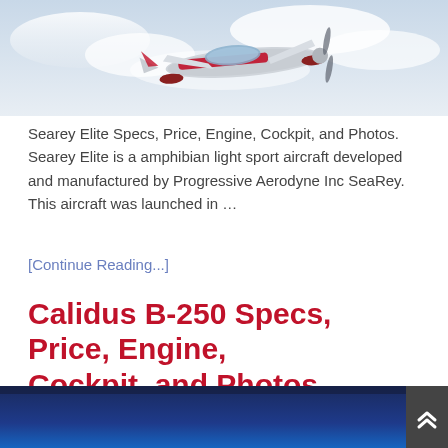[Figure (photo): Amphibian light sport aircraft (Searey Elite) in flight against a cloudy sky, red and white color scheme with floats]
Searey Elite Specs, Price, Engine, Cockpit, and Photos. Searey Elite is a amphibian light sport aircraft developed and manufactured by Progressive Aerodyne Inc SeaRey. This aircraft was launched in …
[Continue Reading...]
Calidus B-250 Specs, Price, Engine, Cockpit, and Photos
[Figure (photo): Dark blue gradient image, likely the beginning of a Calidus B-250 aircraft photo]